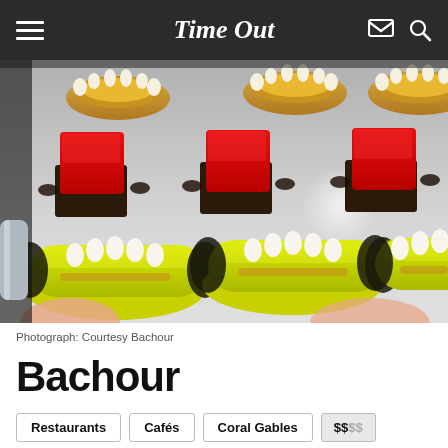Time Out
[Figure (photo): Close-up photo of elegant pastries arranged in rows: red glossy rectangular petit fours in the middle row, yellow-green glazed eclairs with white cream piped on top in the front row, and golden tart shells with white cream in the back row.]
Photograph: Courtesy Bachour
Bachour
Restaurants
Cafés
Coral Gables
$$$$